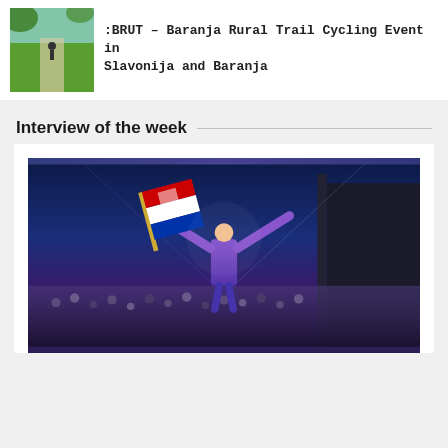[Figure (photo): Thumbnail photo of a rural cycling trail through a vineyard/greenery]
:BRUT - Baranja Rural Trail Cycling Event in Slavonija and Baranja
Interview of the week
[Figure (photo): Concert photo of a DJ/performer on stage with arms raised, holding a Croatian flag, with a large crowd in the background at night]